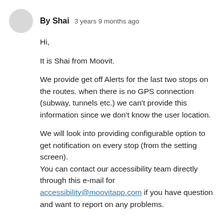By Shai   3 years 9 months ago
Hi,

It is Shai from Moovit.

We provide get off Alerts for the last two stops on the routes. when there is no GPS connection (subway, tunnels etc.) we can't provide this information since we don't know the user location.
We will look into providing configurable option to get notification on every stop (from the setting screen).
You can contact our accessibility team directly through this e-mail for accessibility@moovitapp.com if you have question and want to report on any problems.